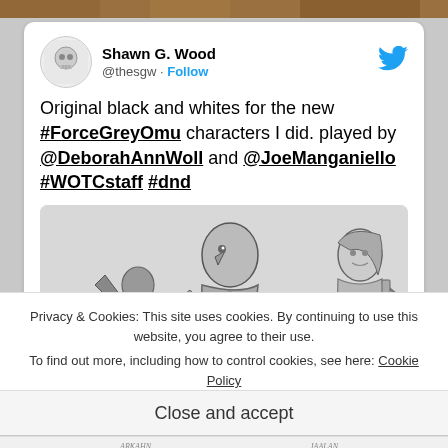[Figure (screenshot): Top banner image partially visible, dark tones]
Shawn G. Wood
@thesgw · Follow
Original black and whites for the new #ForceGreyOmu characters I did. played by @DeborahAnnWoll and @JoeManganiello #WOTCstaff #dnd
[Figure (illustration): Black and white illustration of fantasy characters including a figure with an eagle/bird head in armor and a female warrior with a sword]
Privacy & Cookies: This site uses cookies. By continuing to use this website, you agree to their use.
To find out more, including how to control cookies, see here: Cookie Policy
Close and accept
[Figure (illustration): Bottom partial illustration with handwritten labels ARKAHN and JALAN]